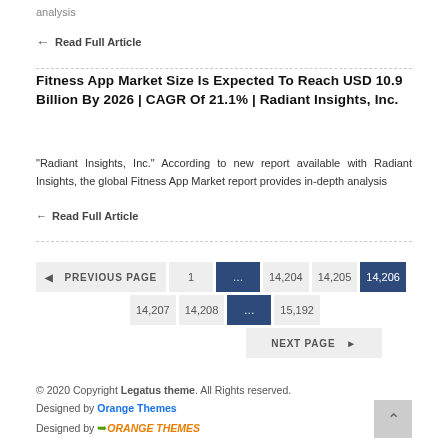analysis
← Read Full Article
Fitness App Market Size Is Expected To Reach USD 10.9 Billion By 2026 | CAGR Of 21.1% | Radiant Insights, Inc.
"Radiant Insights, Inc." According to new report available with Radiant Insights, the global Fitness App Market report provides in-depth analysis
← Read Full Article
Pagination: PREVIOUS PAGE | 1 | ... | 14,204 | 14,205 | 14,206 (active) | 14,207 | 14,208 | ... | 15,192 | NEXT PAGE
© 2020 Copyright Legatus theme. All Rights reserved. Designed by Orange Themes. Designed by ORANGE THEMES